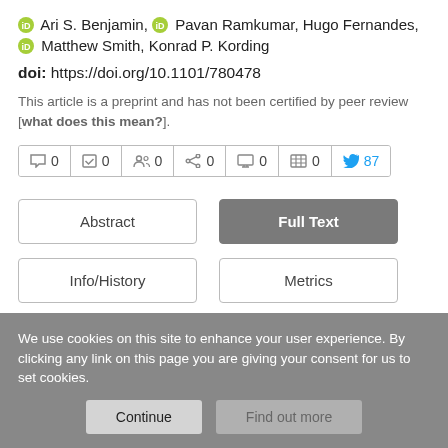Ari S. Benjamin, Pavan Ramkumar, Hugo Fernandes, Matthew Smith, Konrad P. Kording
doi: https://doi.org/10.1101/780478
This article is a preprint and has not been certified by peer review [what does this mean?].
[Figure (infographic): Metrics bar showing counts: comments 0, checkmarks 0, users 0, share 0, monitor 0, table 0, Twitter 87]
[Figure (infographic): Navigation buttons: Abstract, Full Text (highlighted), Info/History, Metrics, Preview PDF]
We use cookies on this site to enhance your user experience. By clicking any link on this page you are giving your consent for us to set cookies.
Continue   Find out more